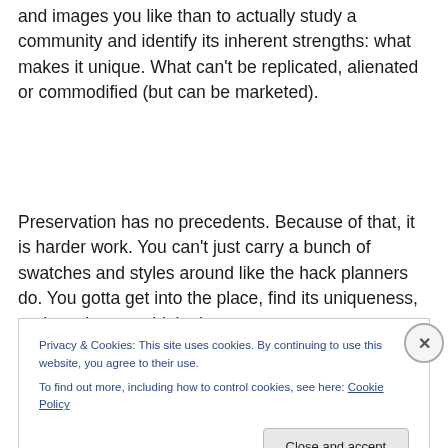and images you like than to actually study a community and identify its inherent strengths: what makes it unique. What can't be replicated, alienated or commodified (but can be marketed).
Preservation has no precedents. Because of that, it is harder work. You can't just carry a bunch of swatches and styles around like the hack planners do. You gotta get into the place, find its uniqueness, and you have to think about
Privacy & Cookies: This site uses cookies. By continuing to use this website, you agree to their use.
To find out more, including how to control cookies, see here: Cookie Policy
Close and accept